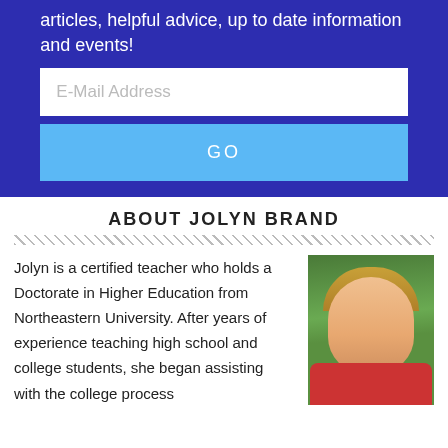articles, helpful advice, up to date information and events!
E-Mail Address
GO
ABOUT JOLYN BRAND
Jolyn is a certified teacher who holds a Doctorate in Higher Education from Northeastern University. After years of experience teaching high school and college students, she began assisting with the college process
[Figure (photo): Professional headshot of Jolyn Brand, a woman with blonde hair wearing a red blazer, smiling, with green foliage in background]